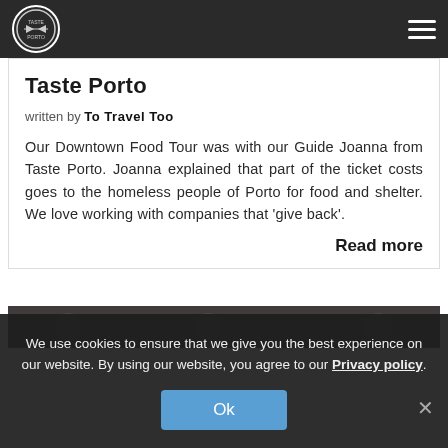Taste Porto
Taste Porto
written by To Travel Too
Our Downtown Food Tour was with our Guide Joanna from Taste Porto. Joanna explained that part of the ticket costs goes to the homeless people of Porto for food and shelter. We love working with companies that 'give back'.
Read more
[Figure (photo): A dark photo strip showing a group of people on a food tour in Porto]
We use cookies to ensure that we give you the best experience on our website. By using our website, you agree to our Privacy policy.
Ok